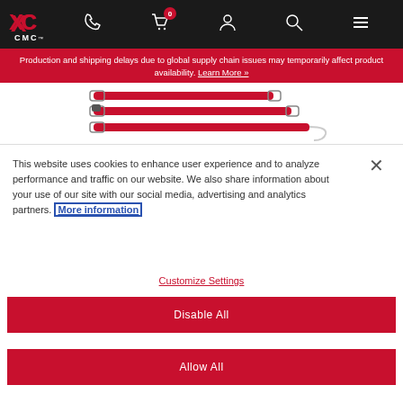[Figure (screenshot): CMC website navigation bar with logo, phone, cart (0), account, search, and menu icons on dark background]
Production and shipping delays due to global supply chain issues may temporarily affect product availability. Learn More »
[Figure (photo): Red webbing slings/straps product image on white background]
This website uses cookies to enhance user experience and to analyze performance and traffic on our website. We also share information about your use of our site with our social media, advertising and analytics partners. More information
Customize Settings
Disable All
Allow All